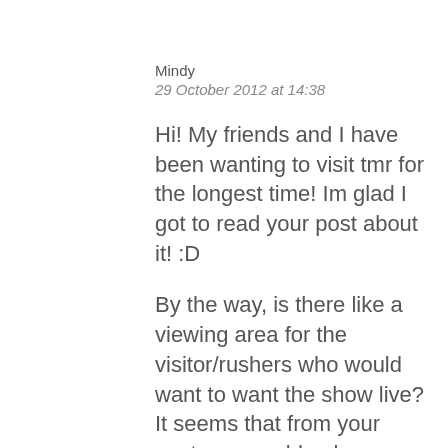Mindy
29 October 2012 at 14:38
Hi! My friends and I have been wanting to visit tmr for the longest time! Im glad I got to read your post about it! :D
By the way, is there like a viewing area for the visitor/rushers who would want to want the show live? It seems that from your post, you could only approach the DJs once the show is over. Hope to hear from you soon! :D